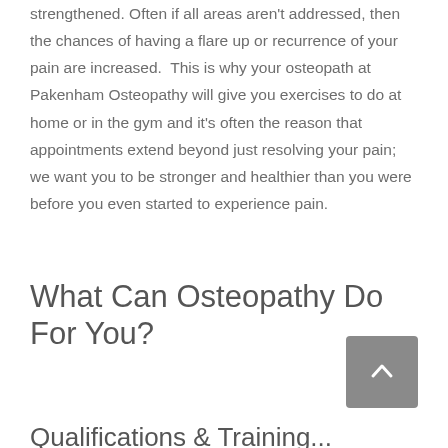strengthened. Often if all areas aren't addressed, then the chances of having a flare up or recurrence of your pain are increased.  This is why your osteopath at Pakenham Osteopathy will give you exercises to do at home or in the gym and it's often the reason that appointments extend beyond just resolving your pain; we want you to be stronger and healthier than you were before you even started to experience pain.
What Can Osteopathy Do For You?
Qualifications & Training...